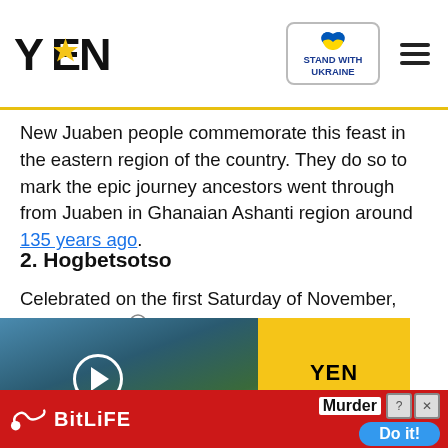YEN | Stand With Ukraine
New Juaben people commemorate this feast in the eastern region of the country. They do so to mark the epic journey ancestors went through from Juaben in Ghanaian Ashanti region around 135 years ago.
2. Hogbetsotso
Celebrated on the first Saturday of November, Hogbetsotso is one of the ewe festivals in Ghana. It is observed by chiefs region. Various towns and Dzita, Abor, Anloga, Kedzi, a host the celebrations. A ded where all the disputes are e solution found.
[Figure (screenshot): Video overlay showing Accra Beautification Project with YEN Report logo]
[Figure (screenshot): BitLife advertisement banner with Murder / Do it! text]